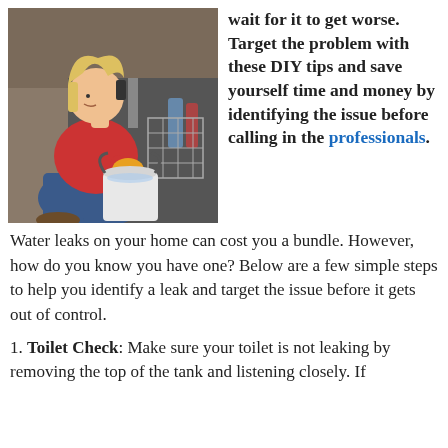[Figure (photo): Woman in red top crouching under a sink, talking on phone and using a sponge to mop up water into a white bucket]
wait for it to get worse. Target the problem with these DIY tips and save yourself time and money by identifying the issue before calling in the professionals.
Water leaks on your home can cost you a bundle. However, how do you know you have one? Below are a few simple steps to help you identify a leak and target the issue before it gets out of control.
1. Toilet Check: Make sure your toilet is not leaking by removing the top of the tank and listening closely. If